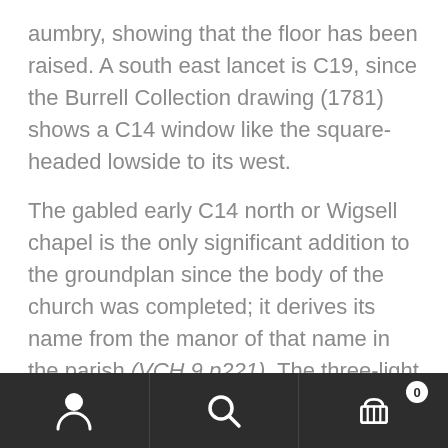aumbry, showing that the floor has been raised.  A south east lancet is C19, since the Burrell Collection drawing (1781) shows a C14 window like the square-headed lowside to its west.
The gabled early C14 north or Wigsell chapel is the only significant addition to the groundplan since the body of the church was completed; it derives its name from the manor of that name in the parish (VCH 9 p221).  The three-light east window of reticulated tracery is related to the chancel.  The north window, with two trefoiled lights and a head with a spherical triangle, is also off-centre, because
[Figure (other): Mobile app bottom navigation bar with three icons: person/user icon, search/magnifying glass icon, and shopping cart icon with badge showing 0]